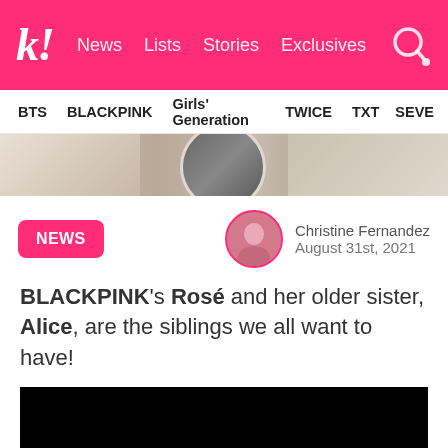k! News Lists Stories Exclusives
BTS BLACKPINK Girls' Generation TWICE TXT SEVE...
[Figure (photo): Hero image strip showing partial photos of people and accessories]
NEWS
[Figure (photo): Author avatar photo of Christine Fernandez]
Christine Fernandez
August 31st, 2021
BLACKPINK's Rosé and her older sister, Alice, are the siblings we all want to have!
[Figure (photo): Black video/image embed area]